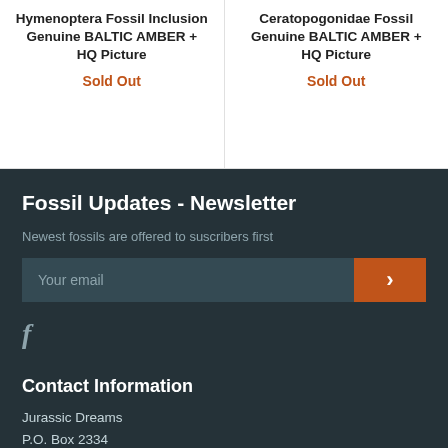Hymenoptera Fossil Inclusion Genuine BALTIC AMBER + HQ Picture
Sold Out
Ceratopogonidae Fossil Genuine BALTIC AMBER + HQ Picture
Sold Out
Fossil Updates - Newsletter
Newest fossils are offered to suscribers first
Your email
Contact Information
Jurassic Dreams
P.O. Box 2334
03080 Alicante
Spain